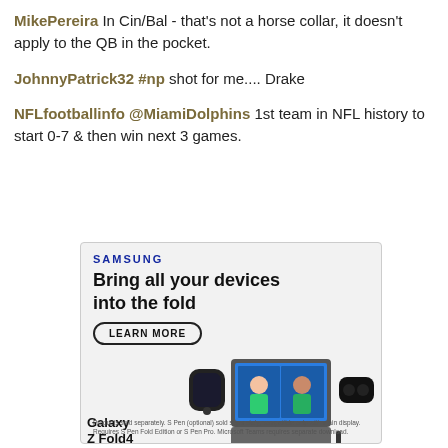MikePereira  In Cin/Bal - that's not a horse collar, it doesn't apply to the QB in the pocket.
JohnnyPatrick32 #np shot for me.... Drake
NFLfootballinfo  @MiamiDolphins 1st team in NFL history to start 0-7 & then win next 3 games.
[Figure (screenshot): Samsung advertisement for Galaxy Z Fold4 with headline 'Bring all your devices into the fold', a LEARN MORE button, images of a smartwatch, folded phone with video call, earbuds, and S Pen. Disclaimer text at bottom.]